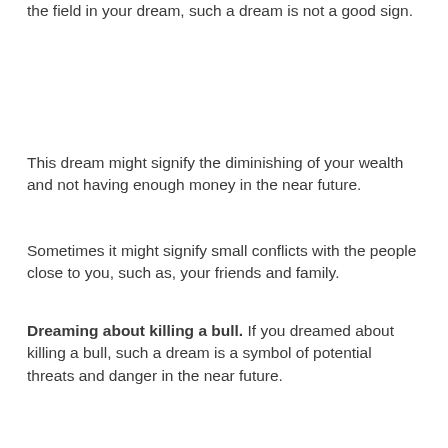the field in your dream, such a dream is not a good sign.
This dream might signify the diminishing of your wealth and not having enough money in the near future.
Sometimes it might signify small conflicts with the people close to you, such as, your friends and family.
Dreaming about killing a bull. If you dreamed about killing a bull, such a dream is a symbol of potential threats and danger in the near future.